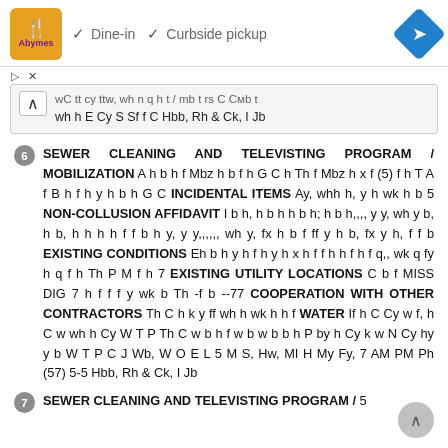[Figure (screenshot): Ad bar showing a restaurant logo, Dine-in and Curbside pickup options with checkmarks, and a blue navigation diamond icon]
wC tt cy ttw, wh n q h t / mb t rs C Cmb t wh h E Cy S Sf f C Hbb, Rh & Ck, I Jb
6  SEWER CLEANING AND TELEVISTING PROGRAM / MOBILIZATION A h b h f Mbz h b f h G C h Th f Mbz h x f (5) f h T A f B h f h y h b h G C INCIDENTAL ITEMS Ay, whh h, y h wk h b 5 NON-COLLUSION AFFIDAVIT I b h, h b h h b h; h b h,,,, y y, wh y b, h b, h h h h f f b h y, y y,,,,,, wh y, fx h b f ff y h b, fx y h, f f b EXISTING CONDITIONS Eh b h y h f h y h x h f f h h f h f q,, wk q fy h q f h Th P M f h 7 EXISTING UTILITY LOCATIONS C b f MISS DIG 7 h f f f y wk b Th -f b --77 COOPERATION WITH OTHER CONTRACTORS Th C h k y ff wh h wk h h f WATER If h C Cy w f, h C w wh h Cy W T P Th C w b h f w b w b b h P by h Cy k w N Cy hy y b W T P C J Wb, W O E L 5 M S, Hw, MI H My Fy, 7 AM PM Ph (57) 5-5 Hbb, Rh & Ck, I Jb
7  SEWER CLEANING AND TELEVISTING PROGRAM / 5